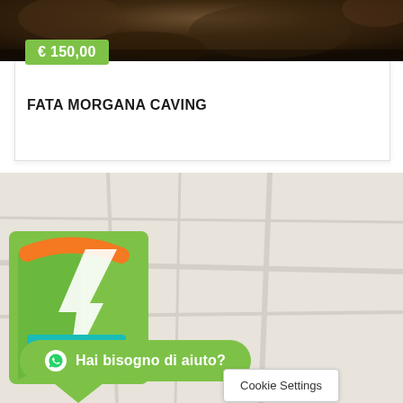[Figure (photo): Cave/rock background photo at top of product card]
€ 150,00
FATA MORGANA CAVING
[Figure (map): Light beige map background with map marker logo featuring green V-shape with orange arc and teal bar, labeled with WhatsApp button]
Hai bisogno di aiuto?
Cookie Settings